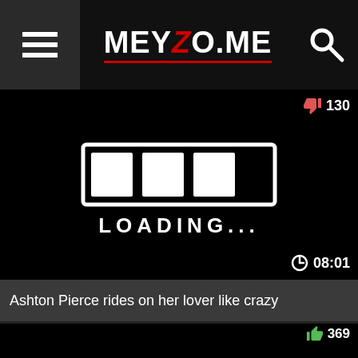MEYZO.ME
[Figure (screenshot): Video thumbnail showing a loading bar graphic with LOADING... text on black background, duration 08:01, dislike count 130]
Ashton Pierce rides on her lover like crazy
[Figure (screenshot): Second video thumbnail on black background showing loading bar graphic, with like count 369 and dislike count 236]